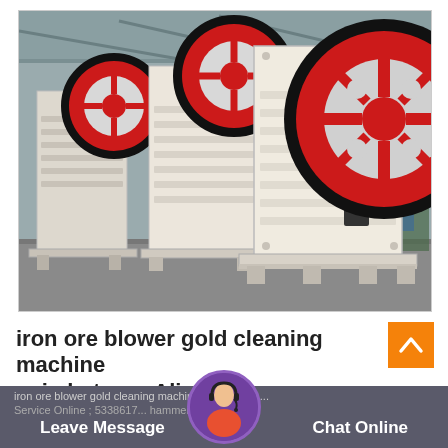[Figure (photo): Industrial jaw crusher machines (multiple units) in a factory/warehouse setting. Machines are white/cream colored with large red and black flywheels. Chinese factory signage visible in background.]
iron ore blower gold cleaning machine coimbatore - Alico
iron ore blower gold cleaning machine coimbatore ...
Service Online ; 5338617... hammer mill machine
Leave Message
Chat Online